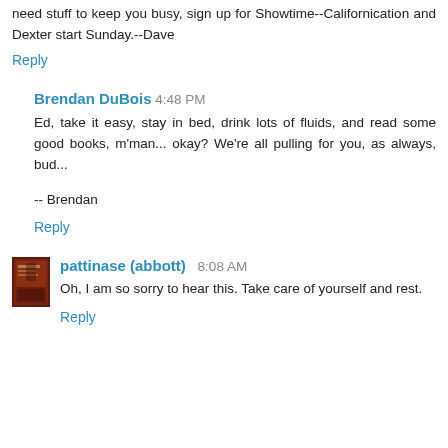need stuff to keep you busy, sign up for Showtime--Californication and Dexter start Sunday.--Dave
Reply
Brendan DuBois  4:48 PM
Ed, take it easy, stay in bed, drink lots of fluids, and read some good books, m'man... okay? We're all pulling for you, as always, bud...

-- Brendan
Reply
[Figure (photo): Small avatar thumbnail image of a book cover with reddish/dark tones]
pattinase (abbott)  8:08 AM
Oh, I am so sorry to hear this. Take care of yourself and rest.
Reply